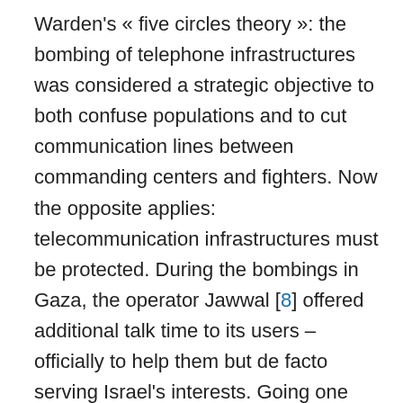Warden's « five circles theory »: the bombing of telephone infrastructures was considered a strategic objective to both confuse populations and to cut communication lines between commanding centers and fighters. Now the opposite applies: telecommunication infrastructures must be protected. During the bombings in Gaza, the operator Jawwal [8] offered additional talk time to its users – officially to help them but de facto serving Israel's interests. Going one step further, Anglo-Saxons and Israeli secrets services developed psychological warfare methods based on an extensive use of mobile phones. In July 2008, after the exchange of prisoners and remains between Israel and Hezbollah, robots placed tens of thousands of calls to Lebanese mobile phones. A voice speaking in Arabic was warning against participating in any resistance activity and belittled Hezbollah. The